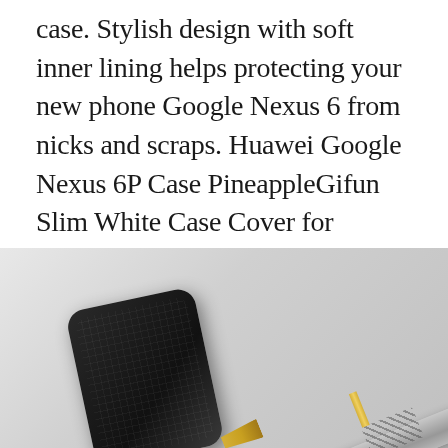case. Stylish design with soft inner lining helps protecting your new phone Google Nexus 6 from nicks and scraps. Huawei Google Nexus 6P Case PineappleGifun Slim White Case Cover for Huawei Google Nexus 6P – Colored Marble Pineapple 990 in stock 1 new from 990.
[Figure (photo): Product photo showing a dark textured phone case and a silver fountain pen with gold nib on a light gray background]